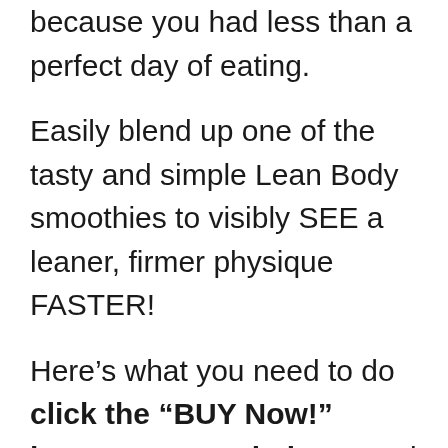because you had less than a perfect day of eating.
Easily blend up one of the tasty and simple Lean Body smoothies to visibly SEE a leaner, firmer physique FASTER!
Here’s what you need to do click the “BUY Now!” button you see below…and I’ll send you the 15 Lean Body Smoothie Recipes series, and you’ll receive immediate: